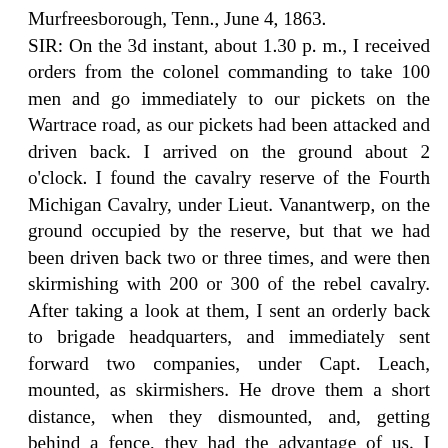Murfreesborough, Tenn., June 4, 1863. SIR: On the 3d instant, about 1.30 p. m., I received orders from the colonel commanding to take 100 men and go immediately to our pickets on the Wartrace road, as our pickets had been attacked and driven back. I arrived on the ground about 2 o'clock. I found the cavalry reserve of the Fourth Michigan Cavalry, under Lieut. Vanantwerp, on the ground occupied by the reserve, but that we had been driven back two or three times, and were then skirmishing with 200 or 300 of the rebel cavalry. After taking a look at them, I sent an orderly back to brigade headquarters, and immediately sent forward two companies, under Capt. Leach, mounted, as skirmishers. He drove them a short distance, when they dismounted, and, getting behind a fence, they had the advantage of us. I recalled my men and sent forward two other companies, dismounted, under Capt.'s Pritchard and Hathaway, who drove them about three-fourths of a mile and across the river. The enemy now opened on us with two pieces of artillery at short range. Their firing was so accurate that I was obliged to move